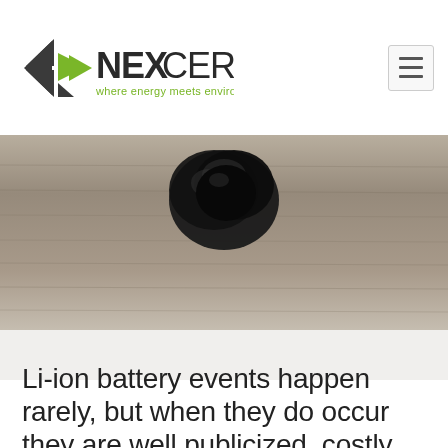NEXCERIS — where energy meets environment
[Figure (photo): Close-up photo of a burnt/charred lithium-ion battery cell on a wooden surface, showing thermal runaway damage — the cell is blackened and deformed, lying on a weathered wood plank background.]
Li-ion battery events happen rarely, but when they do occur they are well publicized, costly, and can result in the loss of